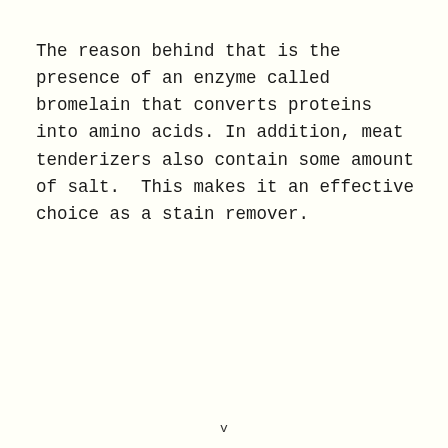The reason behind that is the presence of an enzyme called bromelain that converts proteins into amino acids. In addition, meat tenderizers also contain some amount of salt.  This makes it an effective choice as a stain remover.
v